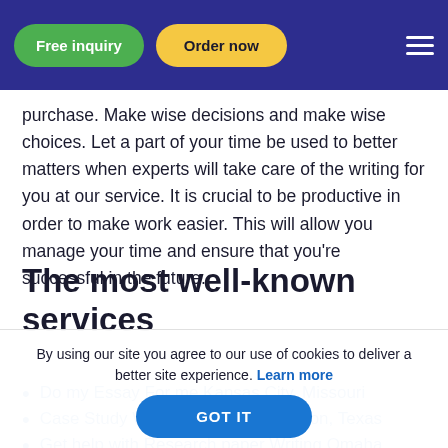Free inquiry | Order now
purchase. Make wise decisions and make wise choices. Let a part of your time be used to better matters when experts will take care of the writing for you at our service. It is crucial to be productive in order to make work easier. This will allow you manage your time and ensure that you're successful in the future.
The most well-known services
Do my Essay For me Kansas City, Missouri
Case Study Writers Near You Houston, Texas
Get help with Research paper Writing Omaha, Nebraska
By using our site you agree to our use of cookies to deliver a better site experience. Learn more
GOT IT